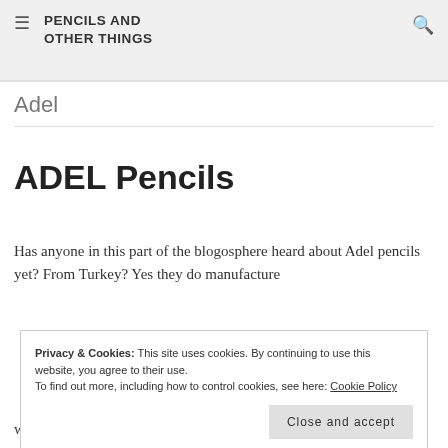PENCILS AND OTHER THINGS
Adel
ADEL Pencils
Has anyone in this part of the blogosphere heard about Adel pencils yet? From Turkey? Yes they do manufacture
Privacy & Cookies: This site uses cookies. By continuing to use this website, you agree to their use. To find out more, including how to control cookies, see here: Cookie Policy
Close and accept
was when a Penfood member gave me a few samples at